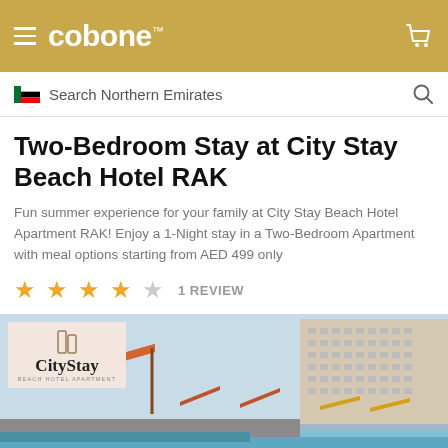cobone™
Search Northern Emirates
Two-Bedroom Stay at City Stay Beach Hotel RAK
Fun summer experience for your family at City Stay Beach Hotel Apartment RAK! Enjoy a 1-Night stay in a Two-Bedroom Apartment with meal options starting from AED 499 only
★★★★☆  1 REVIEW
[Figure (photo): Outdoor pool area of City Stay Beach Hotel with orange beach umbrellas, a tall residential building in the background, and the CityStay Beach Hotel Apartment logo overlaid in the top-left corner.]